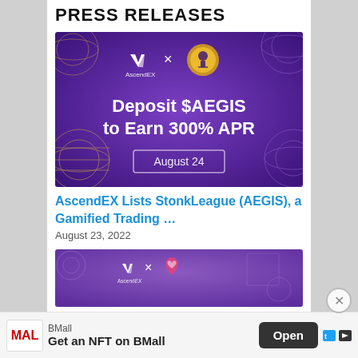PRESS RELEASES
[Figure (illustration): AscendEX x AEGIS promotion banner: purple gradient background with globe wireframe decorations, AscendEX logo and AEGIS lock coin logo at top, text 'Deposit $AEGIS to Earn 300% APR', 'August 24' in a bordered box]
AscendEX Lists StonkLeague (AEGIS), a Gamified Trading …
August 23, 2022
[Figure (illustration): AscendEX x heart/health token promotion banner: lighter purple background with circle decorations, AscendEX logo and pink heart logo at top, partially visible]
BMall Get an NFT on BMall Open